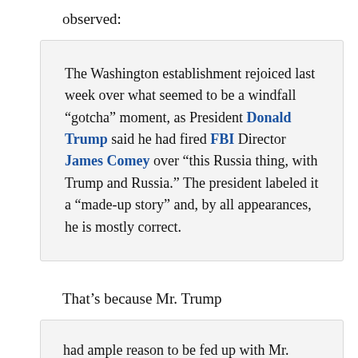observed:
The Washington establishment rejoiced last week over what seemed to be a windfall “gotcha” moment, as President Donald Trump said he had fired FBI Director James Comey over “this Russia thing, with Trump and Russia.” The president labeled it a “made-up story” and, by all appearances, he is mostly correct.
That’s because Mr. Trump
had ample reason to be fed up with Mr. Comey, in part for his lack of enthusiasm to investigate actual, provable crimes related to “Russia-gate” – like leaking information from highly sensitive intercepted communications to precipitate the